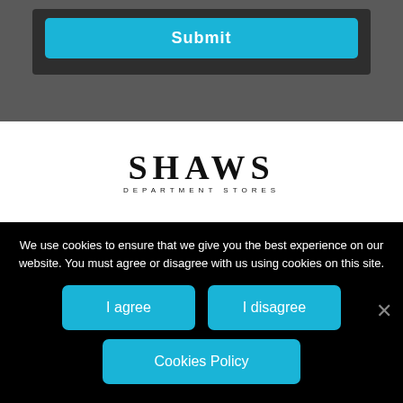[Figure (screenshot): Submit button inside a dark panel on a grey background]
[Figure (logo): Shaws Department Stores logo — large serif SHAWS with smaller spaced subtitle text]
We use cookies to ensure that we give you the best experience on our website. You must agree or disagree with us using cookies on this site.
[Figure (screenshot): Cookie consent buttons: I agree, I disagree, Cookies Policy]